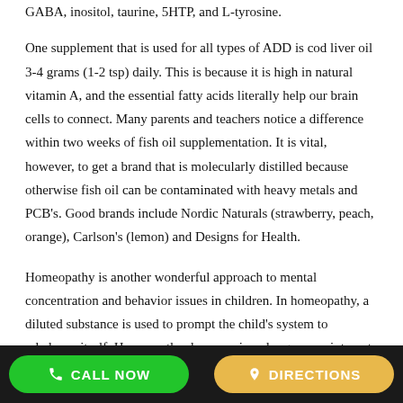GABA, inositol, taurine, 5HTP, and L-tyrosine.
One supplement that is used for all types of ADD is cod liver oil 3-4 grams (1-2 tsp) daily. This is because it is high in natural vitamin A, and the essential fatty acids literally help our brain cells to connect. Many parents and teachers notice a difference within two weeks of fish oil supplementation. It is vital, however, to get a brand that is molecularly distilled because otherwise fish oil can be contaminated with heavy metals and PCB's. Good brands include Nordic Naturals (strawberry, peach, orange), Carlson's (lemon) and Designs for Health.
Homeopathy is another wonderful approach to mental concentration and behavior issues in children. In homeopathy, a diluted substance is used to prompt the child's system to rebalance itself. Homeopathy does require a longer appointment because it is details about a child (their fears, food cravings, nature etc) that help the practitioner to find the right remedy. But the time spent is well worth it. I personally have seen incredible
CALL NOW   DIRECTIONS